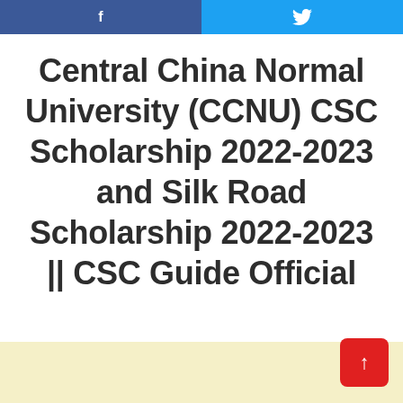Facebook | Twitter
Central China Normal University (CCNU) CSC Scholarship 2022-2023 and Silk Road Scholarship 2022-2023 || CSC Guide Official